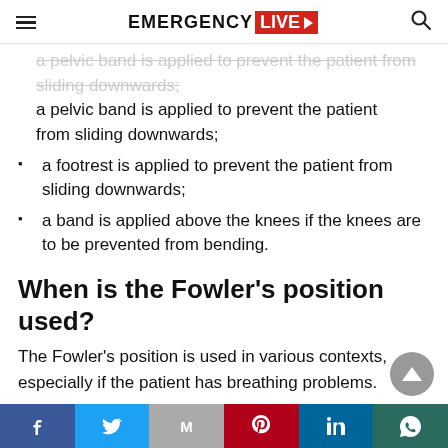EMERGENCY LIVE
a pelvic band is applied to prevent the patient from sliding downwards;
a footrest is applied to prevent the patient from sliding downwards;
a band is applied above the knees if the knees are to be prevented from bending.
When is the Fowler's position used?
The Fowler's position is used in various contexts, especially if the patient has breathing problems.